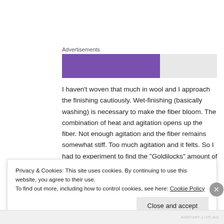Advertisements
[Figure (other): Advertisement bar with purple fill on grey background]
I haven’t woven that much in wool and I approach the finishing cautiously. Wet-finishing (basically washing) is necessary to make the fiber bloom. The combination of heat and agitation opens up the fiber. Not enough agitation and the fiber remains somewhat stiff. Too much agitation and it felts. So I had to experiment to find the “Goldilocks” amount of finishing
Privacy & Cookies: This site uses cookies. By continuing to use this website, you agree to their use.
To find out more, including how to control cookies, see here: Cookie Policy
Close and accept